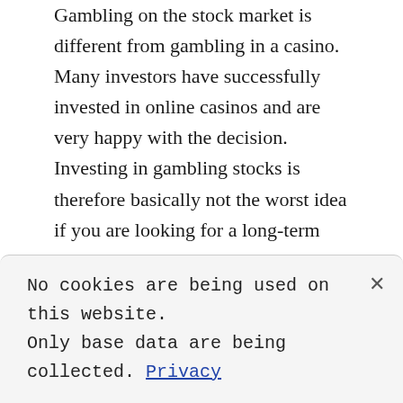Gambling on the stock market is different from gambling in a casino. Many investors have successfully invested in online casinos and are very happy with the decision. Investing in gambling stocks is therefore basically not the worst idea if you are looking for a long-term investment. Some online casinos are listed on the stock exchange, but not everyone is interested in this form of investment. So it is more of a question of type and speculation is and remains speculation. We do not want to provide concrete financial advice here, because everyone is responsible for their own money. So we can only say: Inform yourself thoroughly and always remain vigilant!
No cookies are being used on this website. Only base data are being collected. Privacy